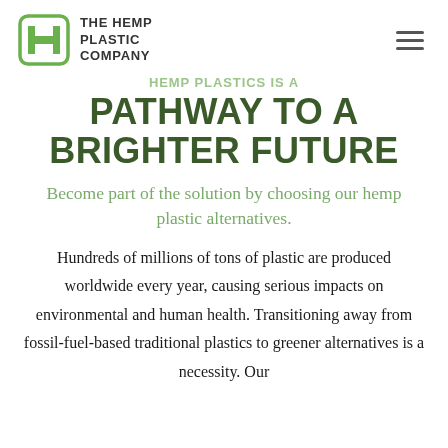THE HEMP PLASTIC COMPANY
HEMP PLASTICS IS A PATHWAY TO A BRIGHTER FUTURE
Become part of the solution by choosing our hemp plastic alternatives.
Hundreds of millions of tons of plastic are produced worldwide every year, causing serious impacts on environmental and human health. Transitioning away from fossil-fuel-based traditional plastics to greener alternatives is a necessity. Our